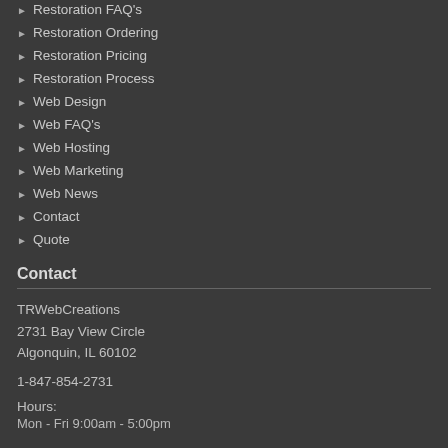Restoration FAQ's
Restoration Ordering
Restoration Pricing
Restoration Process
Web Design
Web FAQ's
Web Hosting
Web Marketing
Web News
Contact
Quote
Contact
TRWebCreations
2731 Bay View Circle
Algonquin, IL 60102
1-847-854-2731
Hours:
Mon - Fri 9:00am - 5:00pm